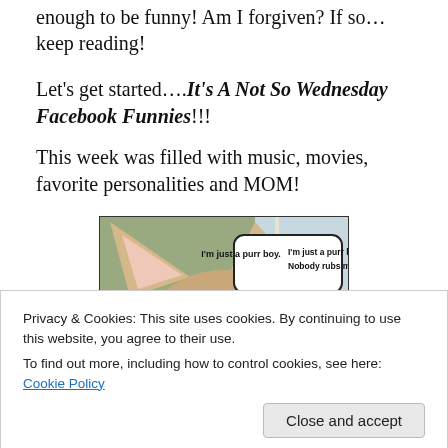enough to be funny! Am I forgiven? If so…keep reading!
Let's get started….It's A Not So Wednesday Facebook Funnies!!!
This week was filled with music, movies, favorite personalities and MOM!
[Figure (photo): A cat meme photo showing an orange tabby cat with large ears and a speech bubble that reads: I'm just a purr boy. Nobody rubs me.]
Privacy & Cookies: This site uses cookies. By continuing to use this website, you agree to their use.
To find out more, including how to control cookies, see here: Cookie Policy
Close and accept
THIS MEOWSTROSITY!